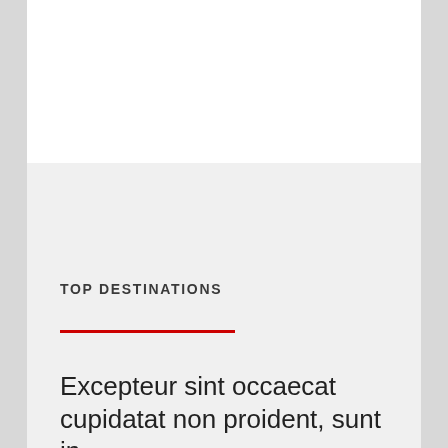[Figure (other): White rectangular box at the top of the page]
TOP DESTINATIONS
Excepteur sint occaecat cupidatat non proident, sunt in